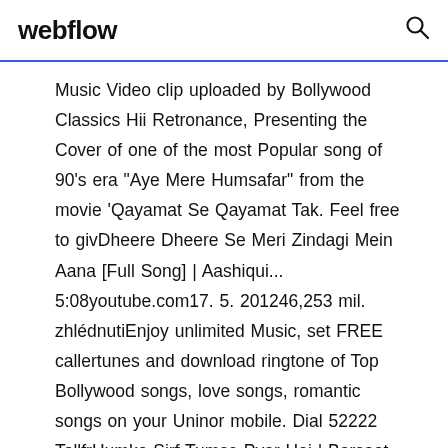webflow
Music Video clip uploaded by Bollywood Classics Hii Retronance, Presenting the Cover of one of the most Popular song of 90's era "Aye Mere Humsafar" from the movie 'Qayamat Se Qayamat Tak. Feel free to givDheere Dheere Se Meri Zindagi Mein Aana [Full Song] | Aashiqui... 5:08youtube.com17. 5. 201246,253 mil. zhlédnutiEnjoy unlimited Music, set FREE callertunes and download ringtone of Top Bollywood songs, love songs, romantic songs on your Uninor mobile. Dial 52222 TollfrHumko Sirf Tumse Pyar Hai | Barsaat Songs 1995 | Bobby Deol...4:13youtube.com15. 4. 201632,273 mil. zhlédnutiMovie: Barsaat (1995) Song: Humko Sirf Tumse Pyar Hai Starcast: Bobby...